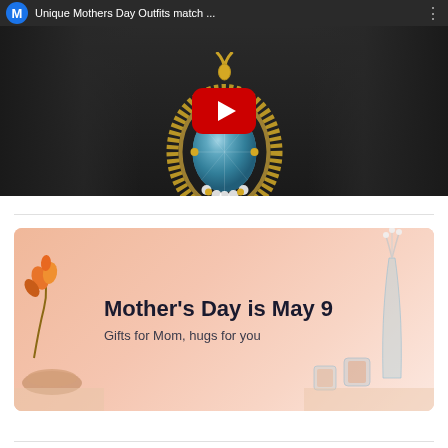[Figure (screenshot): YouTube video thumbnail showing a blue gemstone pendant necklace with gold setting and diamonds, with YouTube play button overlay. Header shows 'M' avatar icon and title 'Unique Mothers Day Outfits match ...' with three-dot menu.]
[Figure (photo): Amazon promotional banner for Mother's Day on a peach/salmon background. Bold text reads 'Mother's Day is May 9' with subtitle 'Gifts for Mom, hugs for you'. Decorative items including flowers, candle, vase visible on the sides.]